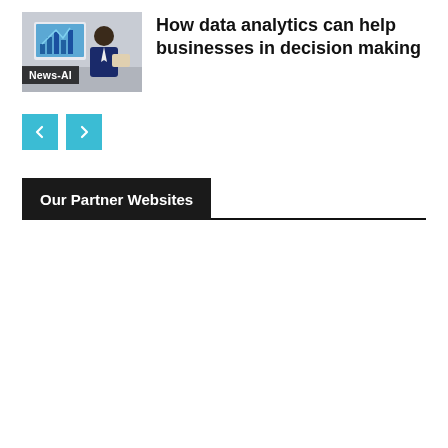[Figure (photo): Thumbnail image of a person in a suit looking at a laptop with a bar chart on screen, office background. News-AI tag visible at bottom left of image.]
How data analytics can help businesses in decision making
[Figure (other): Navigation previous/next buttons in teal/cyan color with < and > arrows]
Our Partner Websites